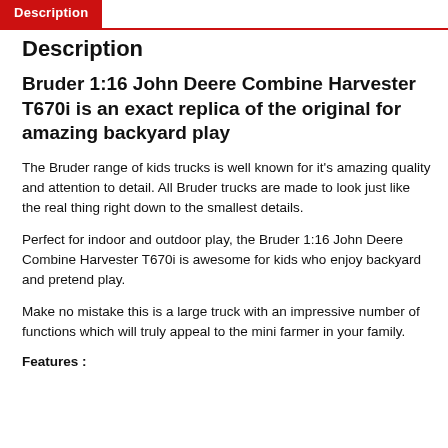Description
Description
Bruder 1:16 John Deere Combine Harvester T670i is an exact replica of the original for amazing backyard play
The Bruder range of kids trucks is well known for it's amazing quality and attention to detail. All Bruder trucks are made to look just like the real thing right down to the smallest details.
Perfect for indoor and outdoor play, the Bruder 1:16 John Deere Combine Harvester T670i is awesome for kids who enjoy backyard and pretend play.
Make no mistake this is a large truck with an impressive number of functions which will truly appeal to the mini farmer in your family.
Features :